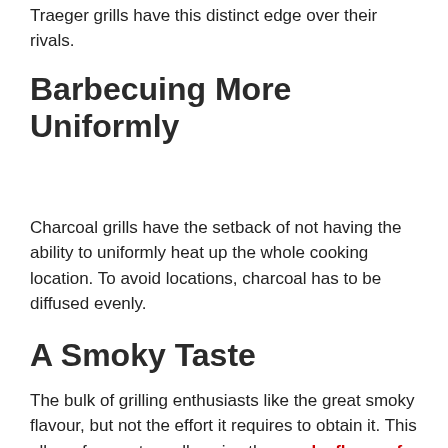Traeger grills have this distinct edge over their rivals.
Barbecuing More Uniformly
Charcoal grills have the setback of not having the ability to uniformly heat up the whole cooking location. To avoid locations, charcoal has to be diffused evenly.
A Smoky Taste
The bulk of grilling enthusiasts like the great smoky flavour, but not the effort it requires to obtain it. This allows for you to really enjoy the smoky flavor of pellet grilling.